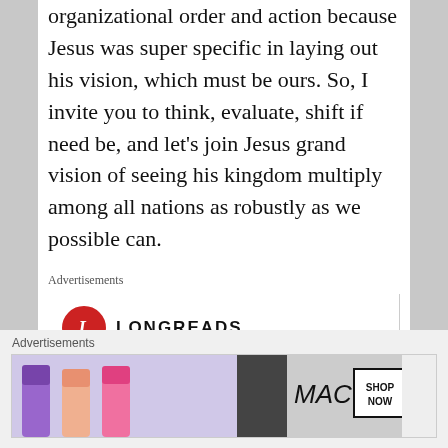organizational order and action because Jesus was super specific in laying out his vision, which must be ours. So, I invite you to think, evaluate, shift if need be, and let's join Jesus grand vision of seeing his kingdom multiply among all nations as robustly as we possible can.
Advertisements
[Figure (logo): Longreads logo: red circle with white letter L, followed by LONGREADS text in bold caps]
Bringing you the best stories on the web since 2009.
Advertisements
[Figure (photo): MAC cosmetics advertisement showing colorful lipsticks with MAC logo and SHOP NOW button]